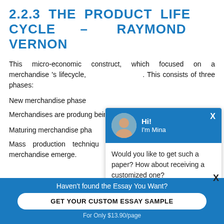2.2.3 THE PRODUCT LIFE CYCLE – RAYMOND VERNON
This micro-economic construct, which focused on a merchandise 's lifecycle, ... consists of three phases:
New merchandise phase
Merchandises are produced ... being consumed locally.
Maturing merchandise phase
Mass production techniques ... criterions and features of the merchandise emerge.
[Figure (screenshot): Chat widget overlay with avatar of Mina, greeting 'Hi! I'm Mina', and message 'Would you like to get such a paper? How about receiving a customized one? Check it out']
Haven't found the Essay You Want?
GET YOUR CUSTOM ESSAY SAMPLE
For Only $13.90/page